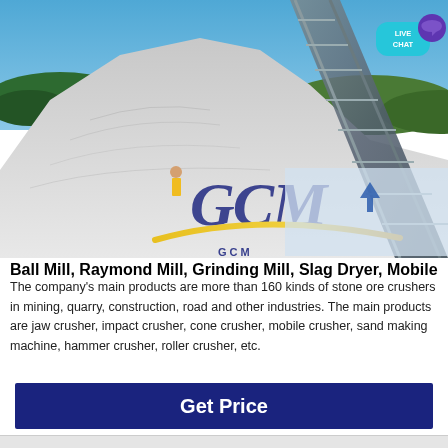[Figure (photo): Aerial/ground view of a quarry/mining site with large piles of crushed stone/gravel, a conveyor belt system on the right, a worker in yellow vest visible in the middle ground, blue sky and green trees in the background. GCM logo overlaid in large dark blue italic letters with a gold arc swoosh beneath. 'LIVE CHAT' button visible in top right. GCM text in smaller letters at bottom right of image.]
Ball Mill, Raymond Mill, Grinding Mill, Slag Dryer, Mobile
The company's main products are more than 160 kinds of stone ore crushers in mining, quarry, construction, road and other industries. The main products are jaw crusher, impact crusher, cone crusher, mobile crusher, sand making machine, hammer crusher, roller crusher, etc.
Get Price